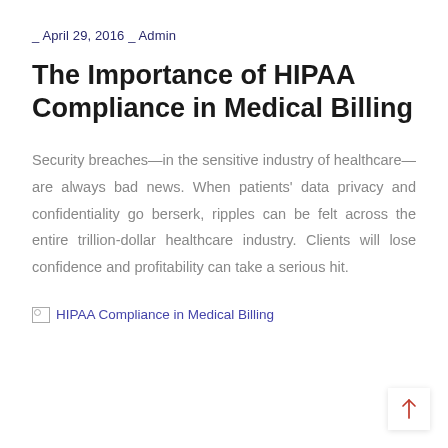_ April 29, 2016 _ Admin
The Importance of HIPAA Compliance in Medical Billing
Security breaches—in the sensitive industry of healthcare—are always bad news. When patients' data privacy and confidentiality go berserk, ripples can be felt across the entire trillion-dollar healthcare industry. Clients will lose confidence and profitability can take a serious hit.
[Figure (photo): Broken image placeholder with alt text: HIPAA Compliance in Medical Billing]